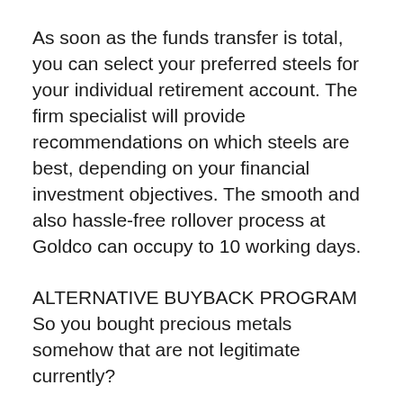As soon as the funds transfer is total, you can select your preferred steels for your individual retirement account. The firm specialist will provide recommendations on which steels are best, depending on your financial investment objectives. The smooth and also hassle-free rollover process at Goldco can occupy to 10 working days.
ALTERNATIVE BUYBACK PROGRAM
So you bought precious metals somehow that are not legitimate currently?
Market your precious metal, as well as Goldco will certainly buy it. And the very best part is you will undoubtedly obtain a better cost here.